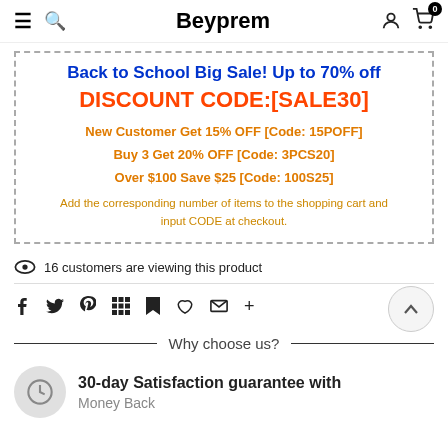Beyprem
Back to School Big Sale! Up to 70% off
DISCOUNT CODE:[SALE30]
New Customer Get 15% OFF [Code: 15POFF]
Buy 3 Get 20% OFF [Code: 3PCS20]
Over $100 Save $25 [Code: 100S25]
Add the corresponding number of items to the shopping cart and input CODE at checkout.
16 customers are viewing this product
Why choose us?
30-day Satisfaction guarantee with
Money Back